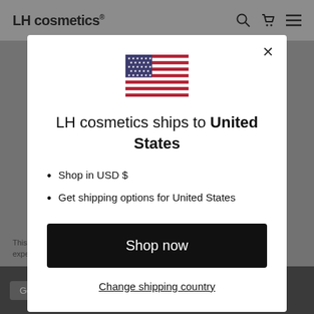[Figure (screenshot): LH cosmetics website header with logo, search, cart, and menu icons on a grey background]
[Figure (illustration): US flag emoji/icon centered in the modal]
LH cosmetics ships to United States
Shop in USD $
Get shipping options for United States
Shop now
Change shipping country
This ... expe...
and exclusive of VAT(tax) for all other countries Prices for shipping are always inclusive of VAT